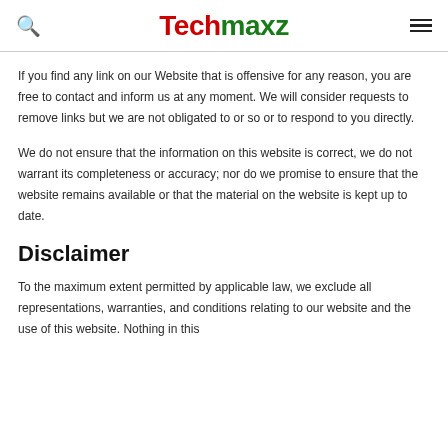Techmaxz
If you find any link on our Website that is offensive for any reason, you are free to contact and inform us at any moment. We will consider requests to remove links but we are not obligated to or so or to respond to you directly.
We do not ensure that the information on this website is correct, we do not warrant its completeness or accuracy; nor do we promise to ensure that the website remains available or that the material on the website is kept up to date.
Disclaimer
To the maximum extent permitted by applicable law, we exclude all representations, warranties, and conditions relating to our website and the use of this website. Nothing in this